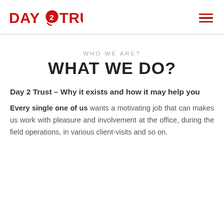DAY 2 TRUST
WHO WE ARE?
WHAT WE DO?
Day 2 Trust – Why it exists and how it may help you
Every single one of us wants a motivating job that can makes us work with pleasure and involvement at the office, during the field operations, in various client-visits and so on.